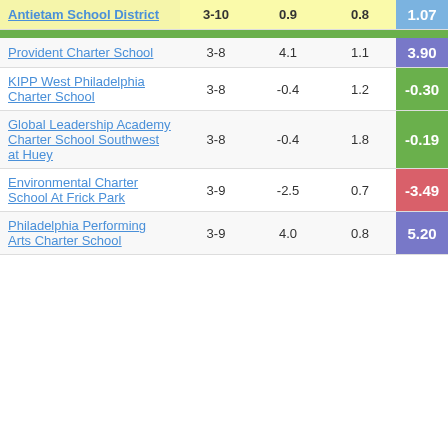| School/District | Grades | Col3 | Col4 | Score |
| --- | --- | --- | --- | --- |
| Antietam School District | 3-10 | 0.9 | 0.8 | 1.07 |
| Provident Charter School | 3-8 | 4.1 | 1.1 | 3.90 |
| KIPP West Philadelphia Charter School | 3-8 | -0.4 | 1.2 | -0.30 |
| Global Leadership Academy Charter School Southwest at Huey | 3-8 | -0.4 | 1.8 | -0.19 |
| Environmental Charter School At Frick Park | 3-9 | -2.5 | 0.7 | -3.49 |
| Philadelphia Performing Arts Charter School | 3-9 | 4.0 | 0.8 | 5.20 |